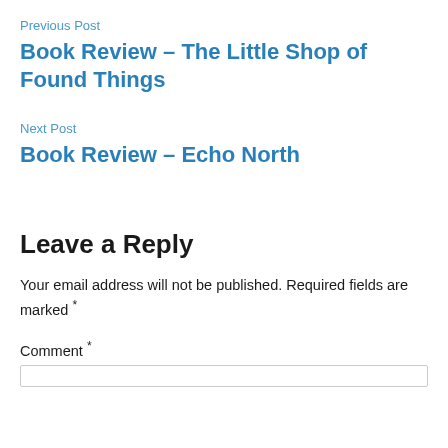Previous Post
Book Review – The Little Shop of Found Things
Next Post
Book Review – Echo North
Leave a Reply
Your email address will not be published. Required fields are marked *
Comment *